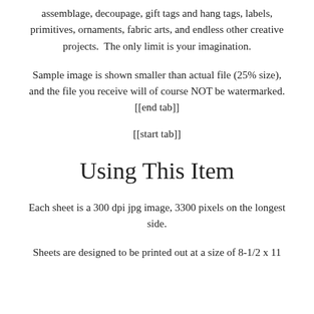assemblage, decoupage, gift tags and hang tags, labels, primitives, ornaments, fabric arts, and endless other creative projects.  The only limit is your imagination.
Sample image is shown smaller than actual file (25% size), and the file you receive will of course NOT be watermarked. [[end tab]]
[[start tab]]
Using This Item
Each sheet is a 300 dpi jpg image, 3300 pixels on the longest side.
Sheets are designed to be printed out at a size of 8-1/2 x 11